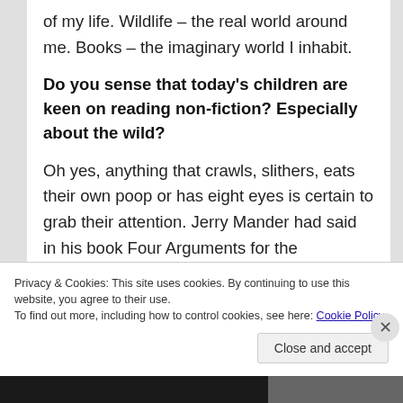of my life. Wildlife – the real world around me. Books – the imaginary world I inhabit.
Do you sense that today's children are keen on reading non-fiction? Especially about the wild?
Oh yes, anything that crawls, slithers, eats their own poop or has eight eyes is certain to grab their attention. Jerry Mander had said in his book Four Arguments for the Elimination of Television that after sometime, if you ask a child, ‘where do oranges grow?’ she’ll say, ‘in a supermarket’. Most city-dwelling children today are alienated from the
Privacy & Cookies: This site uses cookies. By continuing to use this website, you agree to their use.
To find out more, including how to control cookies, see here: Cookie Policy
Close and accept